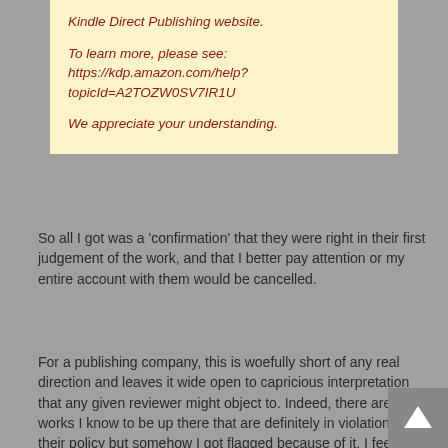Kindle Direct Publishing website.

To learn more, please see: https://kdp.amazon.com/help?topicId=A2TOZW0SV7IR1U

We appreciate your understanding.
So all I got was a 'confirmation' that they were right in their first judgement of the work, and that I better pay attention or my entire account with them would be cancelled.
For a publishing company, this is woefully short of any real direction and leaves it wide open to capricious interpretation that any given reviewer might object to. Indeed, there are works I know to be up there that are definitely in violation of their policy but somehow I got flagged because of it. I feel like I have a big old red flag waving above my head now with them.